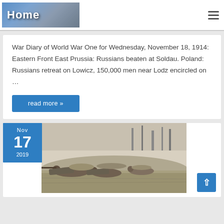Home
War Diary of World War One for Wednesday, November 18, 1914: Eastern Front East Prussia: Russians beaten at Soldau. Poland: Russians retreat on Lowicz, 150,000 men near Lodz encircled on …
read more »
[Figure (photo): Date badge showing Nov 17 2019 overlapping a black and white historical WWI photograph of soldiers in a trench or foxhole, aiming rifles.]
Back to top arrow button